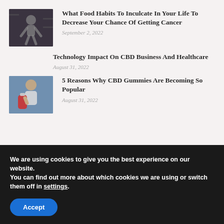[Figure (photo): Person climbing or doing physical activity indoors, dark background]
What Food Habits To Inculcate In Your Life To Decrease Your Chance Of Getting Cancer
September 2, 2022
Technology Impact On CBD Business And Healthcare
August 31, 2022
[Figure (photo): Young man holding a red supplement bottle]
5 Reasons Why CBD Gummies Are Becoming So Popular
August 31, 2022
We are using cookies to give you the best experience on our website.
You can find out more about which cookies we are using or switch them off in settings.
Accept